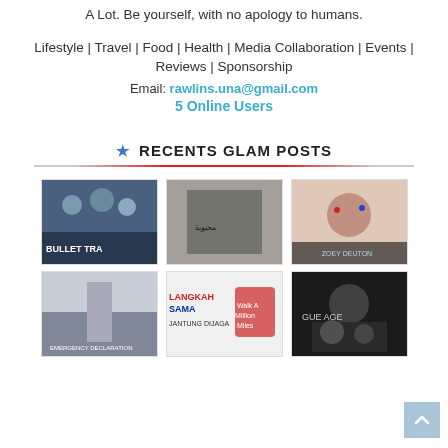A Lot. Be yourself, with no apology to humans.
Lifestyle | Travel | Food | Health | Media Collaboration | Events | Reviews | Sponsorship
Email: rawlins.una@gmail.com
5 Online Users
★ RECENTS GLAM POSTS
[Figure (photo): Thumbnail image - Bullet Train movie poster]
[Figure (photo): Thumbnail image - black and white photo]
[Figure (photo): Thumbnail image - Zoey Deuron colorful makeup photo]
[Figure (photo): Thumbnail image - Emergency Declaration movie poster]
[Figure (photo): Thumbnail image - Langkah Sama Jantung Dijaga poster]
[Figure (photo): Thumbnail image - Vogue Age movie/show poster]